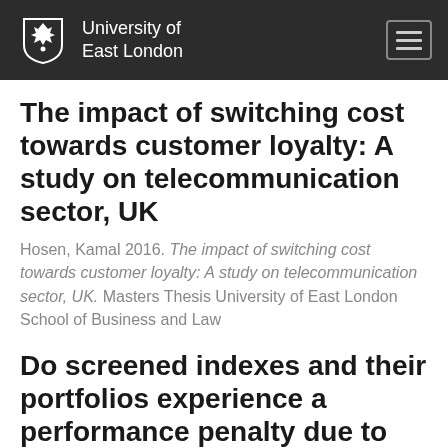University of East London
The impact of switching cost towards customer loyalty: A study on telecommunication sector, UK
Hosen, Kamal 2016. The impact of switching cost towards customer loyalty: A study on telecommunication sector, UK. Masters Thesis University of East London School of Business and Law
Do screened indexes and their portfolios experience a performance penalty due to the application of screening criteria? Empirical evidence from a study of the performances of four FTSE indexes